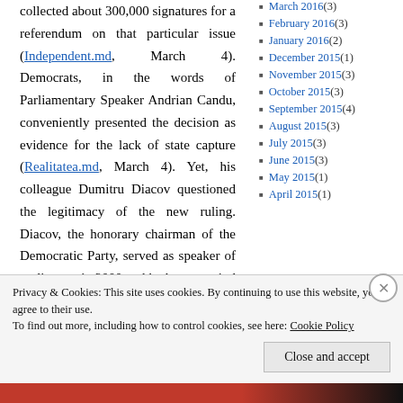collected about 300,000 signatures for a referendum on that particular issue (Independent.md, March 4). Democrats, in the words of Parliamentary Speaker Andrian Candu, conveniently presented the decision as evidence for the lack of state capture (Realitatea.md, March 4). Yet, his colleague Dumitru Diacov questioned the legitimacy of the new ruling. Diacov, the honorary chairman of the Democratic Party, served as speaker of parliament in 2000 and had mastermind the constitutional reform that originally replaced direct presidential elections with an election by the legislature. Another strong presidential
March 2016 (3)
February 2016 (3)
January 2016 (2)
December 2015 (1)
November 2015 (3)
October 2015 (3)
September 2015 (4)
August 2015 (3)
July 2015 (3)
June 2015 (3)
May 2015 (1)
April 2015 (1)
Privacy & Cookies: This site uses cookies. By continuing to use this website, you agree to their use. To find out more, including how to control cookies, see here: Cookie Policy
Close and accept